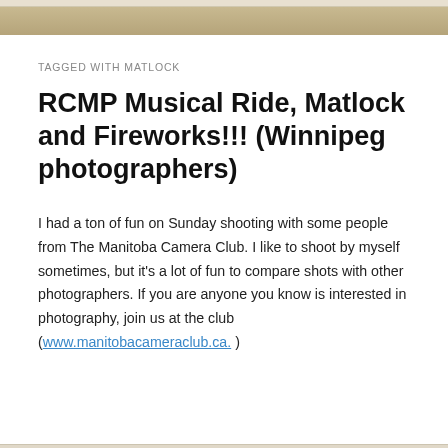TAGGED WITH MATLOCK
RCMP Musical Ride, Matlock and Fireworks!!! (Winnipeg photographers)
I had a ton of fun on Sunday shooting with some people from The Manitoba Camera Club. I like to shoot by myself sometimes, but it's a lot of fun to compare shots with other photographers. If you are anyone you know is interested in photography, join us at the club (www.manitobacameraclub.ca. )